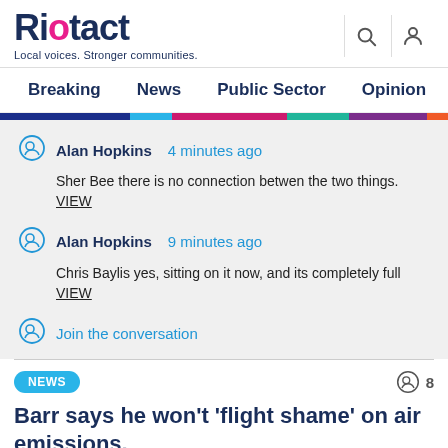Riotact — Local voices. Stronger communities.
Breaking  News  Public Sector  Opinion  Business  R
Alan Hopkins  4 minutes ago
Sher Bee there is no connection betwen the two things. VIEW
Alan Hopkins  9 minutes ago
Chris Baylis yes, sitting on it now, and its completely full VIEW
Join the conversation
NEWS  8
Barr says he won't 'flight shame' on air emissions,